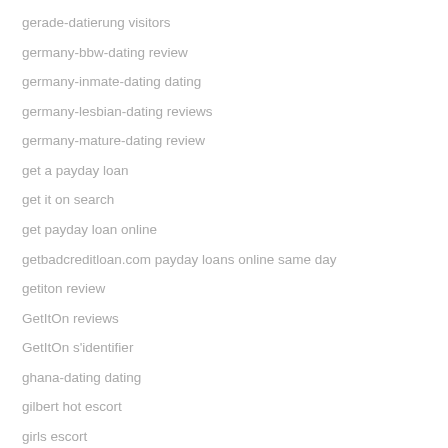gerade-datierung visitors
germany-bbw-dating review
germany-inmate-dating dating
germany-lesbian-dating reviews
germany-mature-dating review
get a payday loan
get it on search
get payday loan online
getbadcreditloan.com payday loans online same day
getiton review
GetItOn reviews
GetItOn s'identifier
ghana-dating dating
gilbert hot escort
girls escort